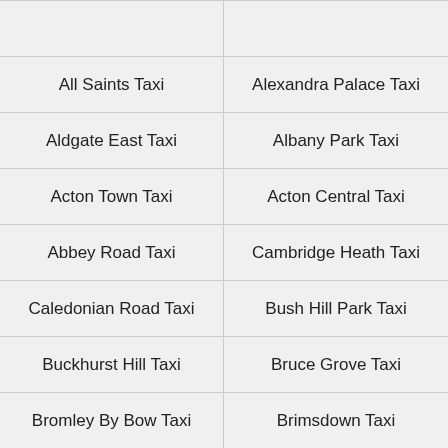|  |  |
| All Saints Taxi | Alexandra Palace Taxi |
| Aldgate East Taxi | Albany Park Taxi |
| Acton Town Taxi | Acton Central Taxi |
| Abbey Road Taxi | Cambridge Heath Taxi |
| Caledonian Road Taxi | Bush Hill Park Taxi |
| Buckhurst Hill Taxi | Bruce Grove Taxi |
| Bromley By Bow Taxi | Brimsdown Taxi |